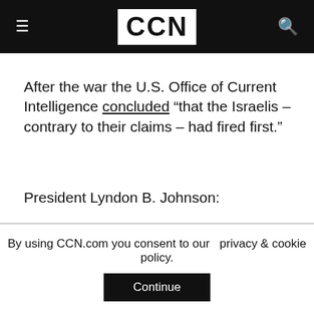CCN
After the war the U.S. Office of Current Intelligence concluded “that the Israelis – contrary to their claims – had fired first.”
President Lyndon B. Johnson:
[Figure (other): Black redacted bar]
“If a single act of folly was more responsible for this explosion than any
By using CCN.com you consent to our  privacy & cookie policy.
Continue